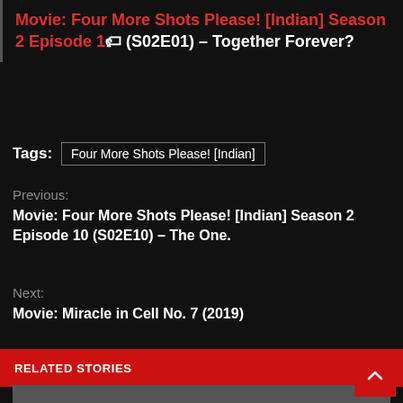Movie: Four More Shots Please! [Indian] Season 2 Episode 1 (S02E01) – Together Forever?
Tags: Four More Shots Please! [Indian]
Previous:
Movie: Four More Shots Please! [Indian] Season 2 Episode 10 (S02E10) – The One.
Next:
Movie: Miracle in Cell No. 7 (2019)
RELATED STORIES
[Figure (photo): Partially visible related story thumbnail image at bottom of page]